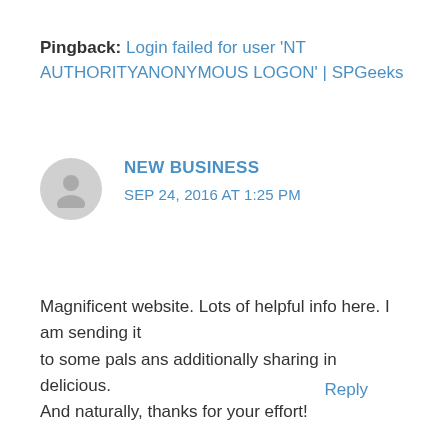Pingback: Login failed for user 'NT AUTHORITYANONYMOUS LOGON' | SPGeeks
NEW BUSINESS
SEP 24, 2016 AT 1:25 PM
Magnificent website. Lots of helpful info here. I am sending it to some pals ans additionally sharing in delicious. And naturally, thanks for your effort!
Reply